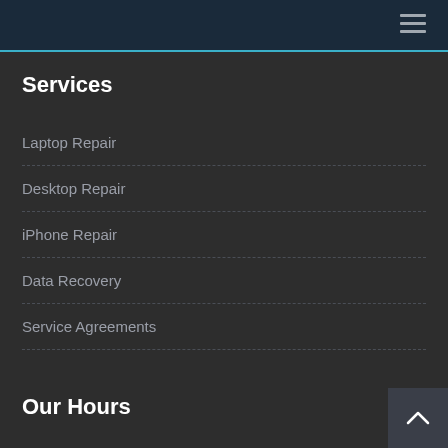Services
Laptop Repair
Desktop Repair
iPhone Repair
Data Recovery
Service Agreements
Our Hours